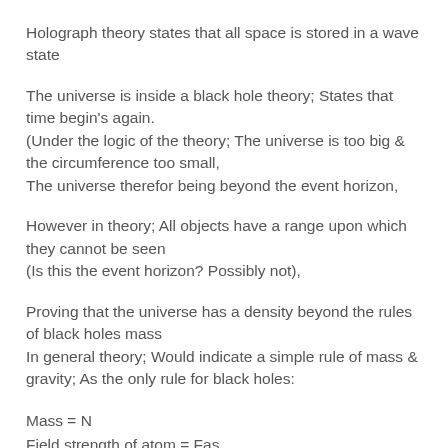Holograph theory states that all space is stored in a wave state
The universe is inside a black hole theory; States that time begin's again.
(Under the logic of the theory; The universe is too big & the circumference too small,
The universe therefor being beyond the event horizon,
However in theory; All objects have a range upon which they cannot be seen
(Is this the event horizon? Possibly not),
Proving that the universe has a density beyond the rules of black holes mass
In general theory; Would indicate a simple rule of mass & gravity; As the only rule for black holes:
Mass = N
Field strength of atom = Fas
Gravity = G